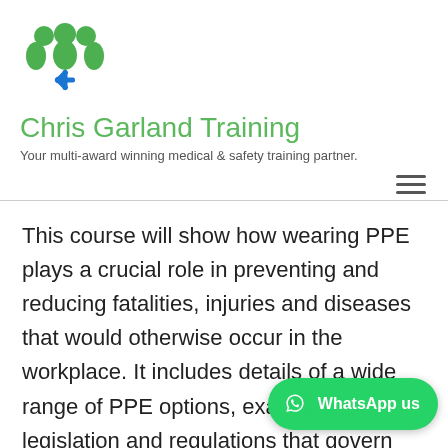[Figure (logo): Chris Garland Training logo: two green human figures with a blue star/asterisk medical symbol in a yellow circle between them]
Chris Garland Training
Your multi-award winning medical & safety training partner.
This course will show how wearing PPE plays a crucial role in preventing and reducing fatalities, injuries and diseases that would otherwise occur in the workplace. It includes details of a wide range of PPE options, examines the legislation and regulations that govern the responsibilities of employers, employees and suppliers, and provides a real-